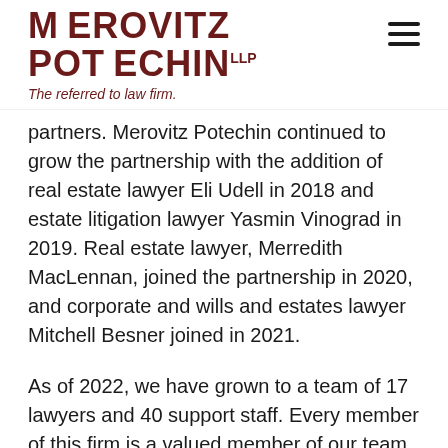[Figure (logo): Merovitz Potechin LLP law firm logo with tagline 'The referred to law firm.']
partners. Merovitz Potechin continued to grow the partnership with the addition of real estate lawyer Eli Udell in 2018 and estate litigation lawyer Yasmin Vinograd in 2019. Real estate lawyer, Merredith MacLennan, joined the partnership in 2020, and corporate and wills and estates lawyer Mitchell Besner joined in 2021.
As of 2022, we have grown to a team of 17 lawyers and 40 support staff. Every member of this firm is a valued member of our team. We support each other in both our professional and personal lives. We care deeply about our staff, clients, families and